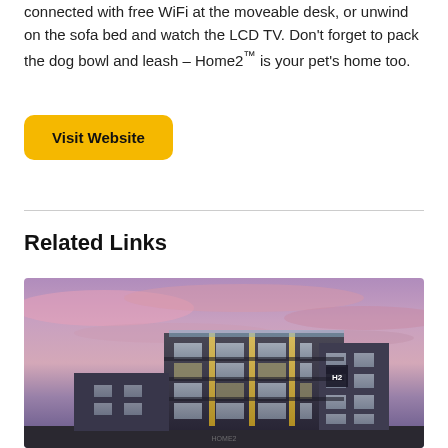connected with free WiFi at the moveable desk, or unwind on the sofa bed and watch the LCD TV. Don't forget to pack the dog bowl and leash – Home2™ is your pet's home too.
Visit Website
Related Links
[Figure (photo): Exterior photo of a modern multi-story hotel building (Home2 Suites) at dusk with a dramatic pink and purple sunset sky. The building has large windows with golden light accents.]